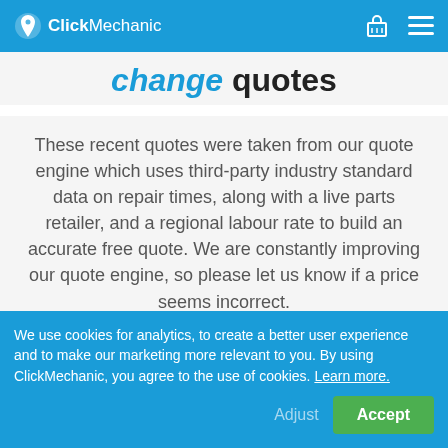ClickMechanic
change quotes
These recent quotes were taken from our quote engine which uses third-party industry standard data on repair times, along with a live parts retailer, and a regional labour rate to build an accurate free quote. We are constantly improving our quote engine, so please let us know if a price seems incorrect.
£316.74
We use cookies for analytics, to create a better user experience and to make our marketing more relevant to you. By using ClickMechanic, you agree to the use of cookies. Learn more.